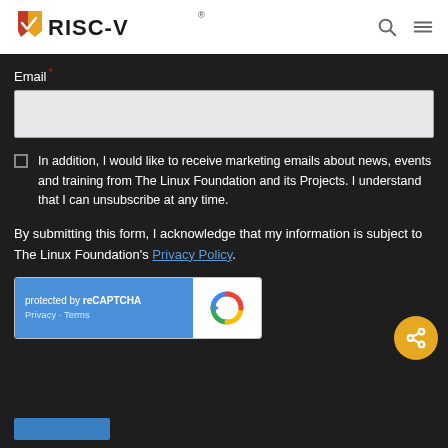RISC-V
Email *
In addition, I would like to receive marketing emails about news, events and training from The Linux Foundation and its Projects. I understand that I can unsubscribe at any time.
By submitting this form, I acknowledge that my information is subject to The Linux Foundation's Privacy Policy.
[Figure (other): reCAPTCHA widget showing 'protected by reCAPTCHA' with Privacy and Terms links on blue background, and reCAPTCHA logo on white background]
[Figure (other): Yellow circular share button with share icon]